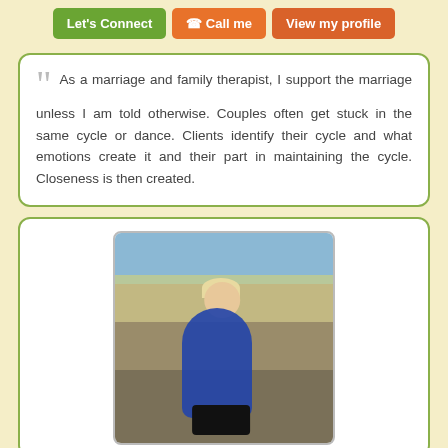[Figure (screenshot): Three action buttons: 'Let's Connect' (green), 'Call me' (orange with phone icon), 'View my profile' (orange-brown)]
As a marriage and family therapist, I support the marriage unless I am told otherwise. Couples often get stuck in the same cycle or dance. Clients identify their cycle and what emotions create it and their part in maintaining the cycle. Closeness is then created.
[Figure (photo): A woman with blonde hair and sunglasses wearing a blue top, sitting on rocks in an outdoor coastal/dune landscape.]